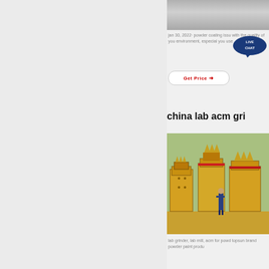[Figure (photo): Gray-toned industrial/factory scene at the top right of the page]
jan 30, 2022· powder coating issu with the quality of you environment, especial you use
[Figure (other): Live Chat button overlay bubble in teal/dark blue]
Get Price →
china lab acm gri
[Figure (photo): Yellow industrial impact crushers/machinery outdoors with a worker standing nearby]
lab grinder, lab mill, acm for powd topsun brand powder paint produ